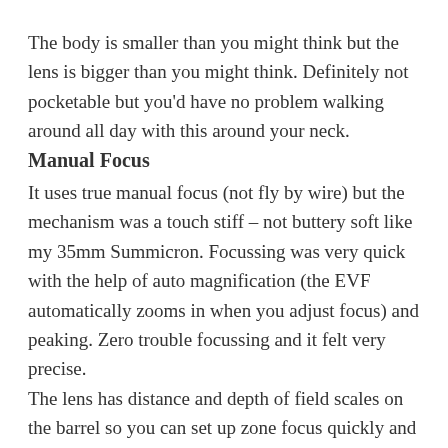The body is smaller than you might think but the lens is bigger than you might think. Definitely not pocketable but you'd have no problem walking around all day with this around your neck.
Manual Focus
It uses true manual focus (not fly by wire) but the mechanism was a touch stiff – not buttery soft like my 35mm Summicron. Focussing was very quick with the help of auto magnification (the EVF automatically zooms in when you adjust focus) and peaking. Zero trouble focussing and it felt very precise.
The lens has distance and depth of field scales on the barrel so you can set up zone focus quickly and easily